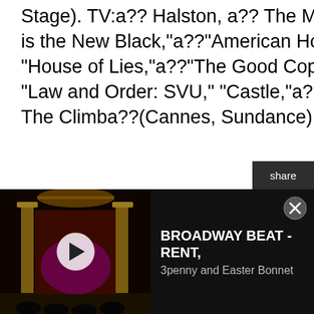Stage). TV:a?? Halston, a?? The Marvelous Mrs. Maisel,"a??"Orange is the New Black,"a??"American Horror Story," "Living with Yourself," "House of Lies,"a??"The Good Cop,"a??"NCIS," "FBI: Most Wanted," "Law and Order: SVU," "Castle,"a??and "Criminal Minds."a??Film:a??The Climba??(Cannes, Sundance).
Marianna McClellan (Leslie/Larry/Lucy). World premiere tour of Dream Hou$e (Alliance Theatre, Long Wharf, Baltimore Center Stage).a??NYC Theatre: Nina in the NYC premiere of Stupid F*cking Bird (Pearl Theater), Cherry Smoke, Apartment 3A (Theatre Row),a??#liberated (Ars Nova). Regional
[Figure (screenshot): Video ad bar at the bottom: dark theater stage background with play button on left, text 'BROADWAY BEAT - RENT, 3penny and Easter Bonnet' on right with close button]